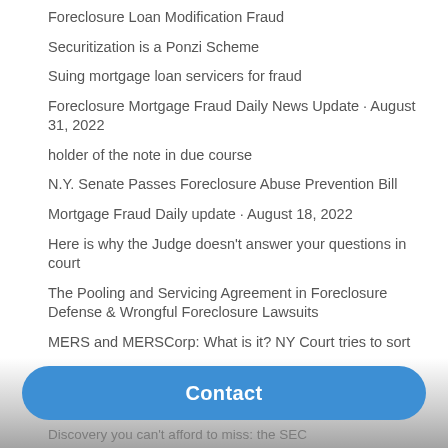Foreclosure Loan Modification Fraud
Securitization is a Ponzi Scheme
Suing mortgage loan servicers for fraud
Foreclosure Mortgage Fraud Daily News Update · August 31, 2022
holder of the note in due course
N.Y. Senate Passes Foreclosure Abuse Prevention Bill
Mortgage Fraud Daily update · August 18, 2022
Here is why the Judge doesn't answer your questions in court
The Pooling and Servicing Agreement in Foreclosure Defense & Wrongful Foreclosure Lawsuits
MERS and MERSCorp: What is it? NY Court tries to sort
Discovery you can't afford to miss: the SEC